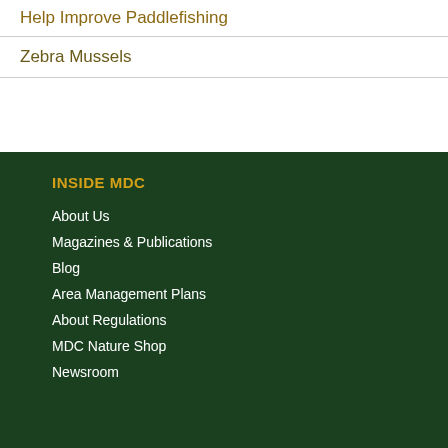Help Improve Paddlefishing
Zebra Mussels
INSIDE MDC
About Us
Magazines & Publications
Blog
Area Management Plans
About Regulations
MDC Nature Shop
Newsroom